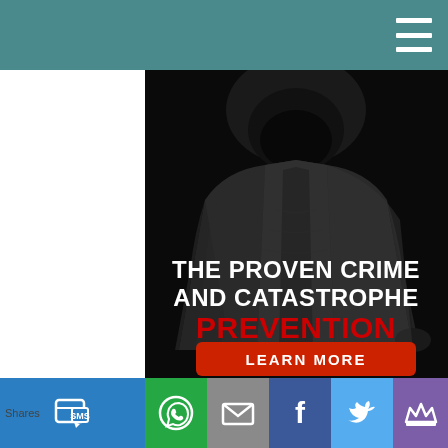[Figure (photo): Dark hooded figure in a grey hoodie against a black background with text overlay reading 'THE PROVEN CRIME AND CATASTROPHE PREVENTION SOLUTION' and a red 'LEARN MORE' button at the bottom]
Shares | SMS | WhatsApp | Email | Facebook | Twitter | Crown